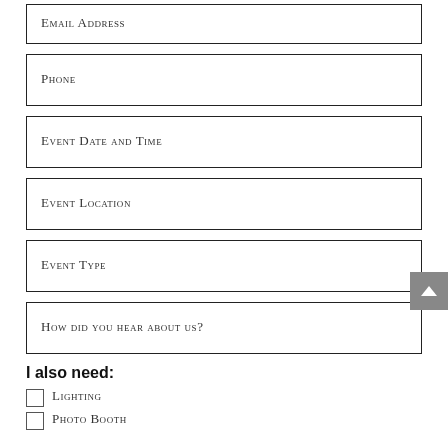Email Address
Phone
Event Date and Time
Event Location
Event Type
How did you hear about us?
I also need:
Lighting
Photo Booth